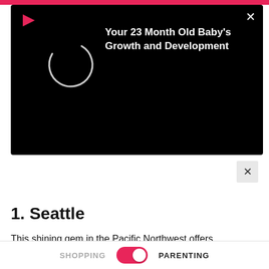[Figure (screenshot): Black notification card overlay showing a loading spinner circle on the left and bold white text 'Your 23 Month Old Baby's Growth and Development' on the right, with a red play icon in top-left and a white X close button in top-right]
1. Seattle
This shining gem in the Pacific Northwest offers downtown sheen and adventure-packed suburbs like Chinatown and Bell town. With aptly placed staircases, local conveniences
SHOPPING   [toggle on]   PARENTING